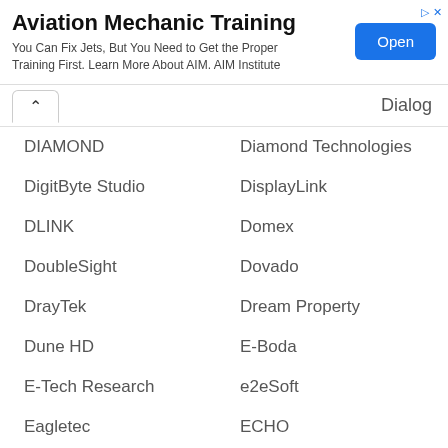[Figure (other): Advertisement banner for Aviation Mechanic Training with Open button]
Dialog
DIAMOND
Diamond Technologies
DigitByte Studio
DisplayLink
DLINK
Domex
DoubleSight
Dovado
DrayTek
Dream Property
Dune HD
E-Boda
E-Tech Research
e2eSoft
Eagletec
ECHO
ECS
Edimax